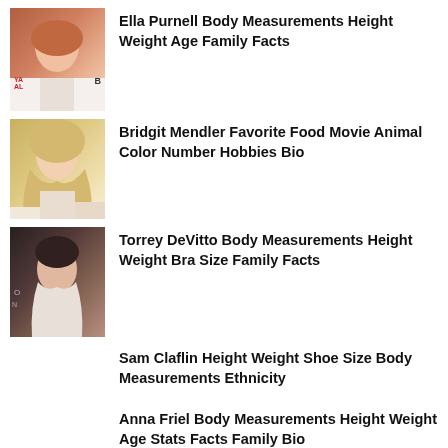[Figure (photo): Photo of Ella Purnell, a young woman with long red/auburn hair]
Ella Purnell Body Measurements Height Weight Age Family Facts
[Figure (photo): Photo of Bridgit Mendler, a young woman with long blonde wavy hair]
Bridgit Mendler Favorite Food Movie Animal Color Number Hobbies Bio
[Figure (photo): Photo of Torrey DeVitto, a woman with dark brown hair pulled up]
Torrey DeVitto Body Measurements Height Weight Bra Size Family Facts
Sam Claflin Height Weight Shoe Size Body Measurements Ethnicity
Anna Friel Body Measurements Height Weight Age Stats Facts Family Bio